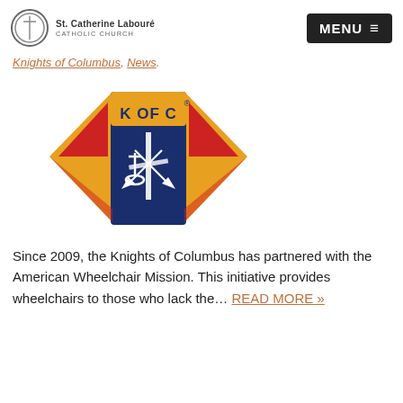St. Catherine Labouré Catholic Church | MENU
Knights of Columbus, News.
[Figure (logo): Knights of Columbus (K of C) emblem/logo — gold, red, and navy shield with crossed axes, anchor, and fasces, with 'K of C' text across the top banner and a registered trademark symbol.]
Since 2009, the Knights of Columbus has partnered with the American Wheelchair Mission. This initiative provides wheelchairs to those who lack the… READ MORE »